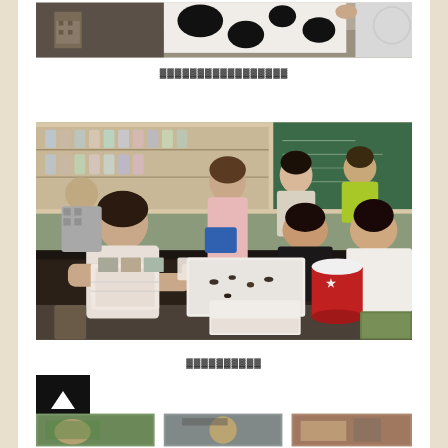[Figure (photo): Partial photo at top showing a cow-patterned object being held, with a lab/classroom background]
▓▓▓▓▓▓▓▓▓▓▓▓▓▓▓▓▓
[Figure (photo): Students seated around a black laboratory table examining specimens and documents in a biology lab with shelves of specimens in the background]
▓▓▓▓▓▓▓▓▓▓
[Figure (photo): Bottom partial photo strip showing outdoor/field activity scenes]